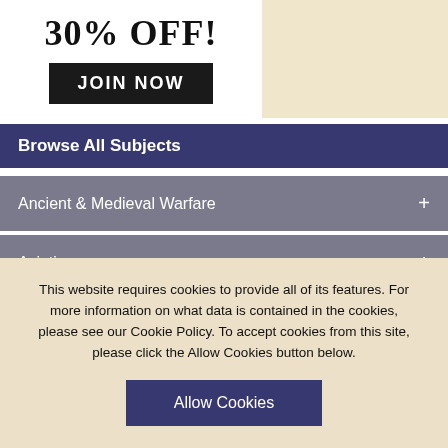[Figure (illustration): Promotional banner showing '30% OFF!' text with a 'JOIN NOW' button on white panel, book/magazine photo background on left, beige background on right]
Browse All Subjects
Ancient & Medieval Warfare
Aviation
This website requires cookies to provide all of its features. For more information on what data is contained in the cookies, please see our Cookie Policy. To accept cookies from this site, please click the Allow Cookies button below.
Allow Cookies